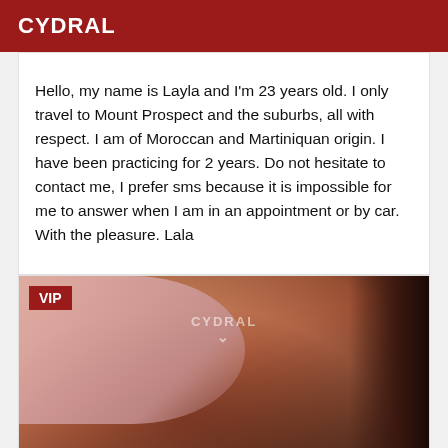CYDRAL
Hello, my name is Layla and I'm 23 years old. I only travel to Mount Prospect and the suburbs, all with respect. I am of Moroccan and Martiniquan origin. I have been practicing for 2 years. Do not hesitate to contact me, I prefer sms because it is impossible for me to answer when I am in an appointment or by car. With the pleasure. Lala
[Figure (photo): Photo with VIP badge overlay and CYDRAL watermark]